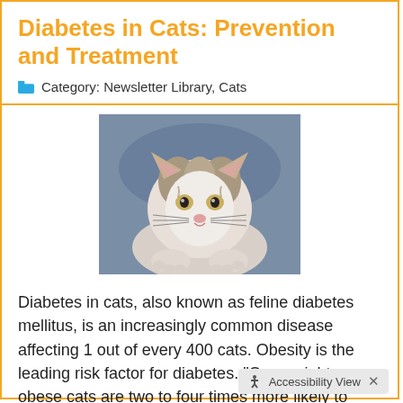Diabetes in Cats: Prevention and Treatment
Category: Newsletter Library, Cats
[Figure (photo): A tabby and white cat lying down, looking at the camera, photographed from front view]
Diabetes in cats, also known as feline diabetes mellitus, is an increasingly common disease affecting 1 out of every 400 cats. Obesity is the leading risk factor for diabetes. "Overweight or obese cats are two to four times more likely to develop diabetes than cats with a healthy body weight," says board-certified